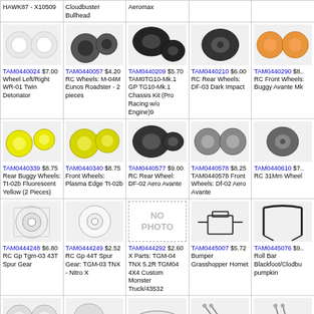| HAWK87 - X10509 / Cloudbuster Bullhead / Aeromax |  |  |
| TAM0440024 $7.00 Wheel Left/Right WR-01 Twin Detonator | TAM0440057 $4.20 RC Wheels: M-04M Eunos Roadster - 2 pieces | TAM0440209 $5.70 TAM0TG10-Mk.1 GP TG10-Mk.1 Chassis Kit (Pro Racing w/o Engine)9 | TAM0440210 $6.00 RC Rear Wheels: DF-03 Dark Impact | TAM0440290 $8.. RC Front Wheels: Buggy Avante Mk |
| TAM0440339 $8.75 Rear Buggy Wheels: Tt-02b Fluorescent Yellow (2 Pieces) | TAM0440340 $8.75 Front Wheels: Plasma Edge Tt-02b | TAM0440577 $9.00 RC Rear Wheel: DF-02 Aero Avante | TAM0440578 $8.25 TAM0440578 Front Wheels: Df-02 Aero Avante | TAM0440610 $7.. RC 31Mm Wheel |
| TAM0444248 $6.80 RC Gp Tgm-03 43T Spur Gear | TAM0444249 $2.52 RC Gp 44T Spur Gear: TGM-03 TNX - Nitro X | TAM0444292 $2.60 X Parts: TGM-04 TNX 5.2R TGM04 4X4 Custom Monster Truck/43532 | TAM0445007 $5.72 Bumper Grasshopper Hornet | TAM0445076 $9.. Roll Bar Blackfoot/Clodbu pumpkin |
| TAM0445095 $5.75 RC Rear Wheels: | TAM0445128 $3.60 RC Upright: | TAM0445167 $8.00 | TAM0445169 $4.90 | TAM0445207 $4.. |